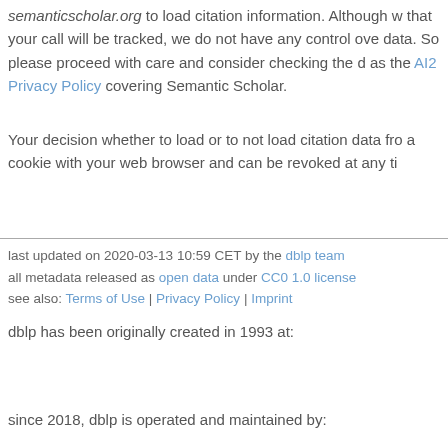semanticscholar.org to load citation information. Although w that your call will be tracked, we do not have any control ove data. So please proceed with care and consider checking the as the AI2 Privacy Policy covering Semantic Scholar.
Your decision whether to load or to not load citation data fro a cookie with your web browser and can be revoked at any ti
last updated on 2020-03-13 10:59 CET by the dblp team
all metadata released as open data under CC0 1.0 license
see also: Terms of Use | Privacy Policy | Imprint
dblp has been originally created in 1993 at:
since 2018, dblp is operated and maintained by: